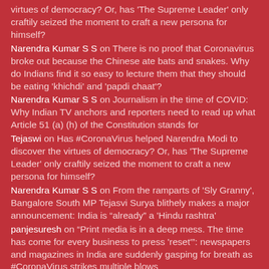virtues of democracy? Or, has ‘The Supreme Leader’ only craftily seized the moment to craft a new persona for himself?
Narendra Kumar S S on There is no proof that Coronavirus broke out because the Chinese ate bats and snakes. Why do Indians find it so easy to lecture them that they should be eating ‘khichdi’ and ‘papdi chaat’?
Narendra Kumar S S on Journalism in the time of COVID: Why Indian TV anchors and reporters need to read up what Article 51 (a) (h) of the Constitution stands for
Tejaswi on Has #CoronaVirus helped Narendra Modi to discover the virtues of democracy? Or, has ‘The Supreme Leader’ only craftily seized the moment to craft a new persona for himself?
Narendra Kumar S S on From the ramparts of ‘Sly Granny’, Bangalore South MP Tejasvi Surya blithely makes a major announcement: India is “already” a ‘Hindu rashtra’
panjesuresh on “Print media is in a deep mess. The time has come for every business to press ‘reset’”: newspapers and magazines in India are suddenly gasping for breath as #CoronaVirus strikes multiple blows
Jyothi Raghuram on There is no proof that Coronavirus broke out